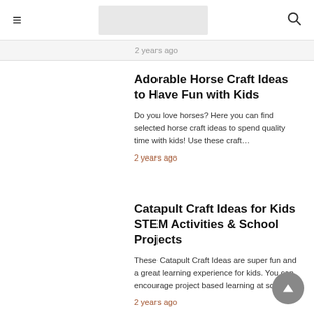≡ [logo] 🔍
2 years ago
Adorable Horse Craft Ideas to Have Fun with Kids
Do you love horses? Here you can find selected horse craft ideas to spend quality time with kids! Use these craft…
2 years ago
Catapult Craft Ideas for Kids STEM Activities & School Projects
These Catapult Craft Ideas are super fun and a great learning experience for kids. You can encourage project based learning at school…
2 years ago